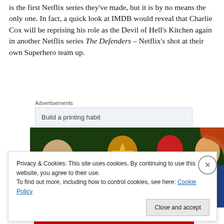is the first Netflix series they've made, but it is by no means the only one. In fact, a quick look at IMDB would reveal that Charlie Cox will be reprising his role as the Devil of Hell's Kitchen again in another Netflix series The Defenders – Netflix's shot at their own Superhero team up.
Advertisements
[Figure (illustration): Illustration of The Defenders superhero characters including Iron Fist in yellow costume, Daredevil in red, and a female character with red hair]
Privacy & Cookies: This site uses cookies. By continuing to use this website, you agree to their use.
To find out more, including how to control cookies, see here: Cookie Policy